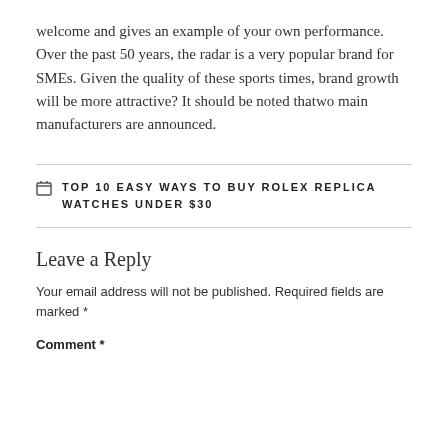welcome and gives an example of your own performance. Over the past 50 years, the radar is a very popular brand for SMEs. Given the quality of these sports times, brand growth will be more attractive? It should be noted thatwo main manufacturers are announced.
TOP 10 EASY WAYS TO BUY ROLEX REPLICA WATCHES UNDER $30
Leave a Reply
Your email address will not be published. Required fields are marked *
Comment *